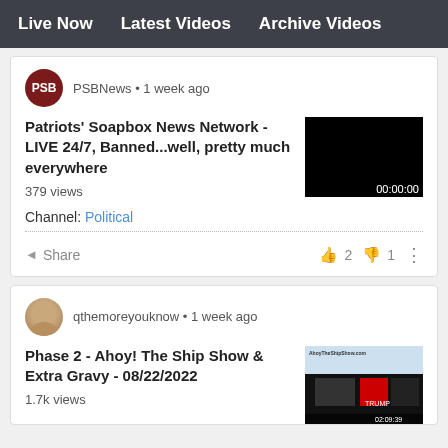Live Now   Latest Videos   Archive Videos
PSBNews • 1 week ago
Patriots' Soapbox News Network - LIVE 24/7, Banned...well, pretty much everywhere
379 views
[Figure (screenshot): Black video thumbnail with duration 00:00:00]
Channel: Political
Share   👍 2  👎 1  ⋮
qthemoreyouknow • 1 week ago
Phase 2 - Ahoy! The Ship Show & Extra Gravy - 08/22/2022
1.7k views
[Figure (screenshot): AhoyTheShipShow.com video thumbnail with show graphics and duration 02:09:39]